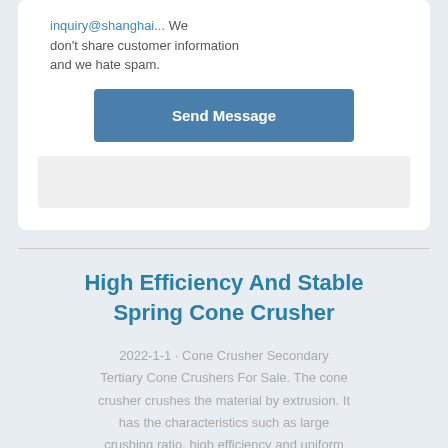inquiry@shanghai... We don't share customer information and we hate spam.
Send Message
High Efficiency And Stable Spring Cone Crusher
2022-1-1 · Cone Crusher Secondary Tertiary Cone Crushers For Sale. The cone crusher crushes the material by extrusion. It has the characteristics such as large crushing ratio, high efficiency and uniform